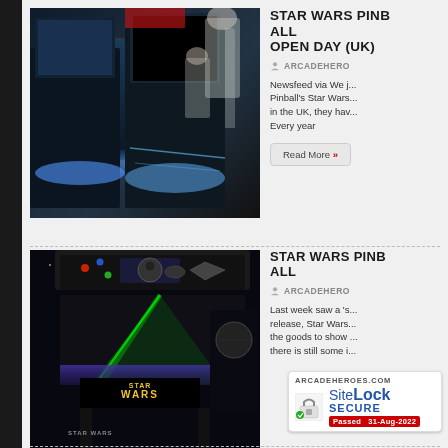[Figure (photo): Pinball machines at an open day event with people looking at Star Wars pinball machines]
STAR WARS PINBALL OPEN DAY (UK)
ARCADEHERO
Newsfeed via We just posted about Stern Pinball's Star Wars pinball being on show in the UK, they have an open day event. Every year
[Figure (photo): Star Wars pinball machine with green lightsaber effect on playfield, Star Wars branding visible]
STAR WARS PINBALL
ARCADEHERO
Last week saw a 'soft' release, Star Wars had the goods to show off but there is still some i...
[Figure (logo): SiteLock SECURE badge - Passed 31-Aug-2022, ARCADEHEROES.COM]